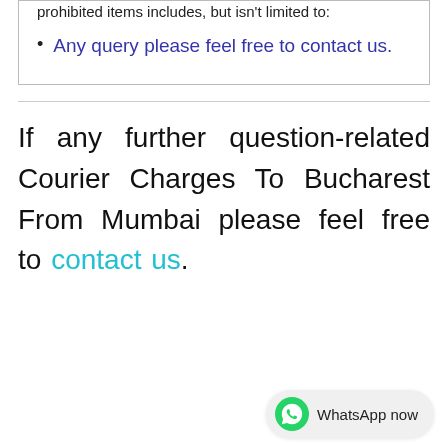prohibited items includes, but isn't limited to:
Any query please feel free to contact us.
If any further question-related Courier Charges To Bucharest From Mumbai please feel free to contact us.